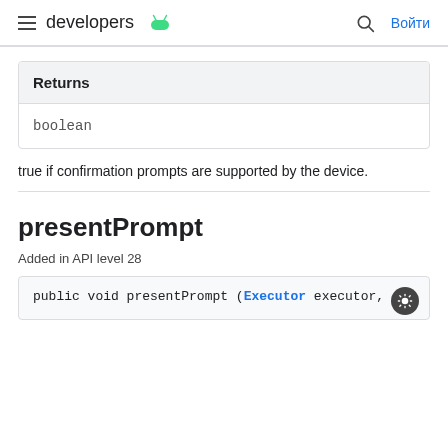developers | Войти
| Returns |
| --- |
| boolean |
true if confirmation prompts are supported by the device.
presentPrompt
Added in API level 28
public void presentPrompt (Executor executor,